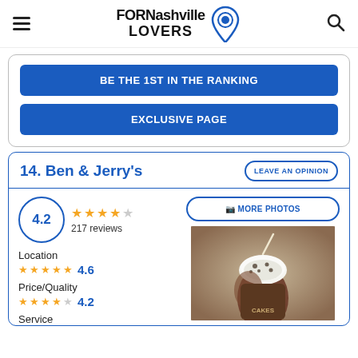FOR Nashville LOVERS
BE THE 1ST IN THE RANKING
EXCLUSIVE PAGE
14. Ben & Jerry's
LEAVE AN OPINION
4.2 / 217 reviews
[Figure (photo): Photo of an ice cream drink / milkshake from Ben & Jerry's with whipped cream and toppings]
Location 4.6
Price/Quality 4.2
Service